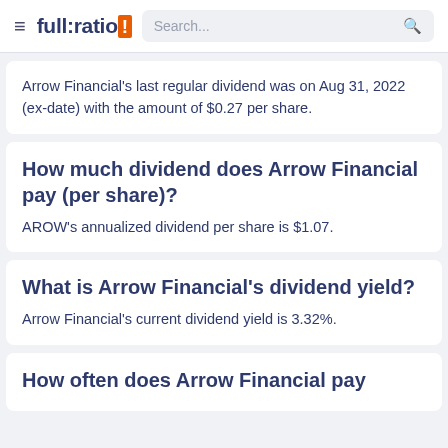full:ratio | Search...
Arrow Financial's last regular dividend was on Aug 31, 2022 (ex-date) with the amount of $0.27 per share.
How much dividend does Arrow Financial pay (per share)?
AROW's annualized dividend per share is $1.07.
What is Arrow Financial's dividend yield?
Arrow Financial's current dividend yield is 3.32%.
How often does Arrow Financial pay